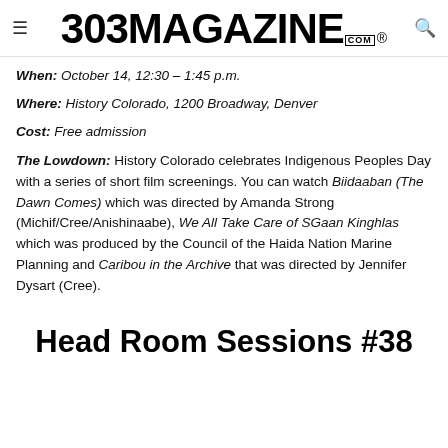303 MAGAZINE .COM ®
When: October 14, 12:30 – 1:45 p.m.
Where: History Colorado, 1200 Broadway, Denver
Cost: Free admission
The Lowdown: History Colorado celebrates Indigenous Peoples Day with a series of short film screenings. You can watch Biidaaban (The Dawn Comes) which was directed by Amanda Strong (Michif/Cree/Anishinaabe), We All Take Care of SGaan Kinghlas which was produced by the Council of the Haida Nation Marine Planning and Caribou in the Archive that was directed by Jennifer Dysart (Cree).
Head Room Sessions #38